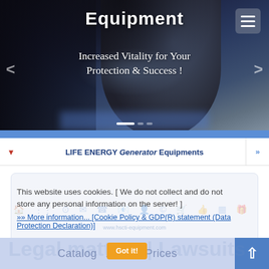[Figure (screenshot): Hero banner with woman's face background, bold 'Equipment' title, subtitle 'Increased Vitality for Your Protection & Success !', navigation arrows and dots, and hamburger menu button]
LIFE ENERGY Generator Equipments
This website uses cookies. [ We do not collect and do not store any personal information on the server! ]
»» More information... [Cookie Policy & GDP(R) statement (Data Protection Declaration)]
Legal matters | Lawsuits
Catalog   Actual- Prices
Got it!